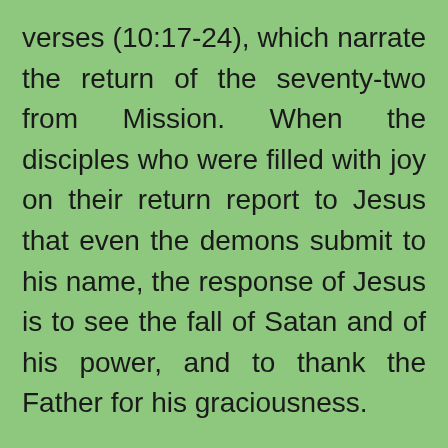verses (10:17-24), which narrate the return of the seventy-two from Mission. When the disciples who were filled with joy on their return report to Jesus that even the demons submit to his name, the response of Jesus is to see the fall of Satan and of his power, and to thank the Father for his graciousness.
Since the disciples here confirm that the demons are cast out in the name of Jesus, it follows that Satan's rule is indeed coming to an end with the